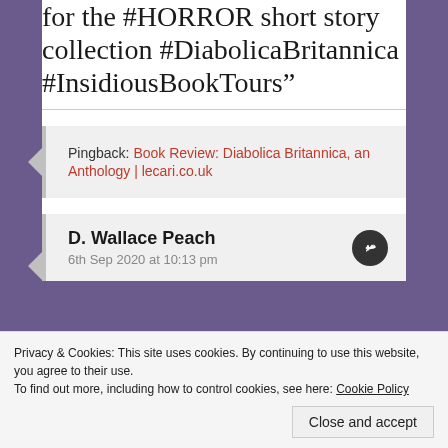for the #HORROR short story collection #DiabolicaBritannica #InsidiousBookTours”
Pingback: Book Review: Diabolica Britannica, an Anthology | lecari.co.uk
D. Wallace Peach
6th Sep 2020 at 10:13 pm
Privacy & Cookies: This site uses cookies. By continuing to use this website, you agree to their use.
To find out more, including how to control cookies, see here: Cookie Policy
Close and accept
Liked by 1 person